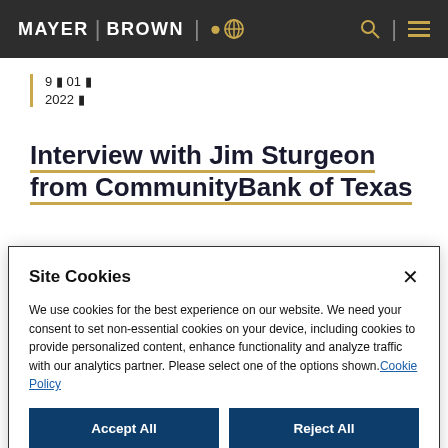MAYER | BROWN
9 월 01 일
2022 년
Interview with Jim Sturgeon from CommunityBank of Texas
Site Cookies
We use cookies for the best experience on our website. We need your consent to set non-essential cookies on your device, including cookies to provide personalized content, enhance functionality and analyze traffic with our analytics partner. Please select one of the options shown. Cookie Policy
Accept All
Reject All
Manage Options